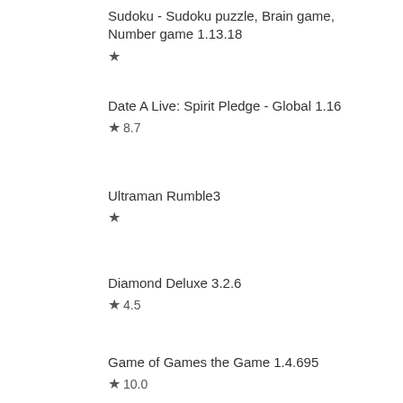Sudoku - Sudoku puzzle, Brain game, Number game 1.13.18
★
Date A Live: Spirit Pledge - Global 1.16
★ 8.7
Ultraman Rumble3
★
Diamond Deluxe 3.2.6
★ 4.5
Game of Games the Game 1.4.695
★ 10.0